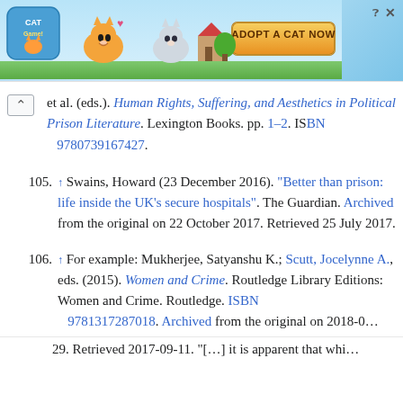[Figure (screenshot): Advertisement banner for Cat Game mobile app showing cartoon cats and 'Adopt a Cat Now' button with close icon]
et al. (eds.). Human Rights, Suffering, and Aesthetics in Political Prison Literature. Lexington Books. pp. 1–2. ISBN 9780739167427.
105. ↑ Swains, Howard (23 December 2016). "Better than prison: life inside the UK's secure hospitals". The Guardian. Archived from the original on 22 October 2017. Retrieved 25 July 2017.
106. ↑ For example: Mukherjee, Satyanshu K.; Scutt, Jocelynne A., eds. (2015). Women and Crime. Routledge Library Editions: Women and Crime. Routledge. ISBN 9781317287018. Archived from the original on 2018-0... 29. Retrieved 2017-09-11. "[...] it is apparent that whi...